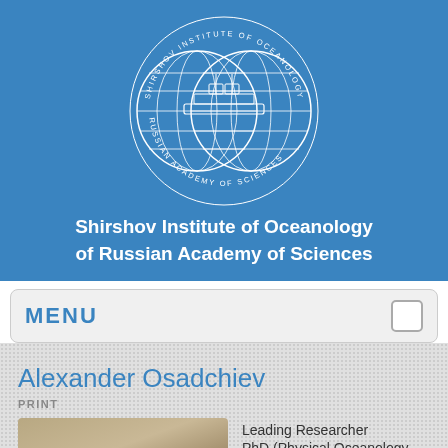[Figure (logo): Shirshov Institute of Oceanology of Russian Academy of Sciences circular emblem with two globes and a research vessel]
Shirshov Institute of Oceanology of Russian Academy of Sciences
MENU
Alexander Osadchiev
PRINT
[Figure (photo): Portrait photo of Alexander Osadchiev]
Leading Researcher
PhD (Physical Oceanology)